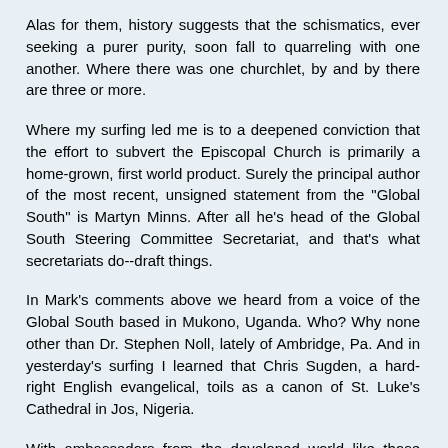Alas for them, history suggests that the schismatics, ever seeking a purer purity, soon fall to quarreling with one another. Where there was one churchlet, by and by there are three or more.
Where my surfing led me is to a deepened conviction that the effort to subvert the Episcopal Church is primarily a home-grown, first world product. Surely the principal author of the most recent, unsigned statement from the "Global South" is Martyn Minns. After all he's head of the Global South Steering Committee Secretariat, and that's what secretariats do--draft things.
In Mark's comments above we heard from a voice of the Global South based in Mukono, Uganda. Who? Why none other than Dr. Stephen Noll, lately of Ambridge, Pa. And in yesterday's surfing I learned that Chris Sugden, a hard-right English evangelical, toils as a canon of St. Luke's Cathedral in Jos, Nigeria.
With ambassadors from the developed world like those two, it's hardly surprising that some Africans regard the